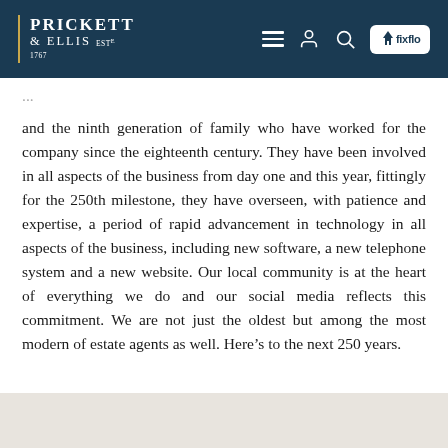Prickett & Ellis Est. 1767
and the ninth generation of family who have worked for the company since the eighteenth century. They have been involved in all aspects of the business from day one and this year, fittingly for the 250th milestone, they have overseen, with patience and expertise, a period of rapid advancement in technology in all aspects of the business, including new software, a new telephone system and a new website. Our local community is at the heart of everything we do and our social media reflects this commitment. We are not just the oldest but among the most modern of estate agents as well. Here’s to the next 250 years.